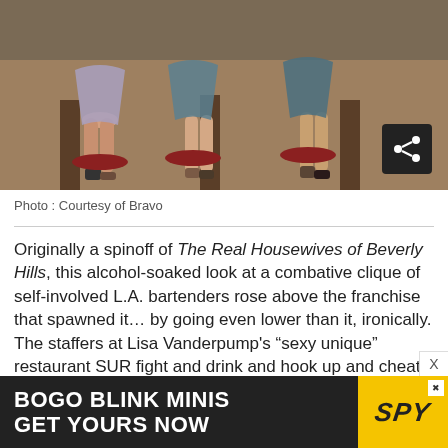[Figure (photo): Photo of several women seated, from a TV show promotional image. A share button icon is visible in the bottom right corner of the photo.]
Photo : Courtesy of Bravo
Originally a spinoff of The Real Housewives of Beverly Hills, this alcohol-soaked look at a combative clique of self-involved L.A. bartenders rose above the franchise that spawned it… by going even lower than it, ironically. The staffers at Lisa Vanderpump's “sexy unique” restaurant SUR fight and drink and hook up and cheat on each other and drink some more and fight some more — and their despicable behavior has turned into reality TV gold. It helps that the staff is stacked with
[Figure (advertisement): Ad bar: BOGO BLINK MINIS / GET YOURS NOW with SPY logo on yellow background]